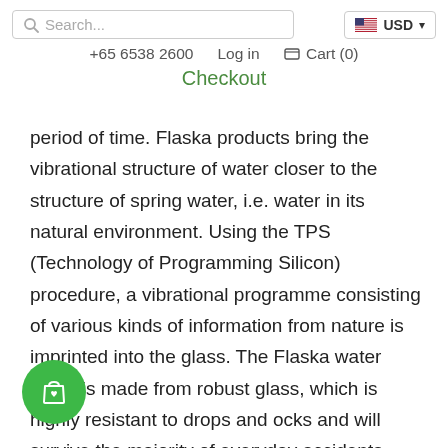Search... | USD | +65 6538 2600 | Log in | Cart (0) | Checkout
period of time. Flaska products bring the vibrational structure of water closer to the structure of spring water, i.e. water in its natural environment. Using the TPS (Technology of Programming Silicon) procedure, a vibrational programme consisting of various kinds of information from nature is imprinted into the glass. The Flaska water bottle is made from robust glass, which is highly resistant to drops and ocks and will survive the majority of everyday accidents. Glass is the most logical material for water bottles – it doesn't put
[Figure (illustration): Green circular cart/shopping bag icon button in the bottom left corner]